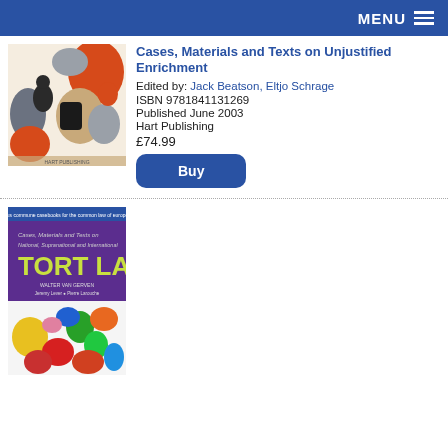MENU
[Figure (illustration): Book cover for 'Cases, Materials and Texts on Unjustified Enrichment' published by Hart Publishing, showing abstract shapes in orange, grey, beige, black on white background]
Cases, Materials and Texts on Unjustified Enrichment
Edited by: Jack Beatson, Eltjo Schrage
ISBN 9781841131269
Published June 2003
Hart Publishing
£74.99
Buy
[Figure (illustration): Book cover for 'Cases, Materials and Texts on National, Supranational and International Tort Law' by Walter van Gerven, Jeremy Lever, Pierre Larouche, published by Hart Publishing. Shows 'TORT LAW' in large yellow letters on purple background with colorful abstract shapes below.]